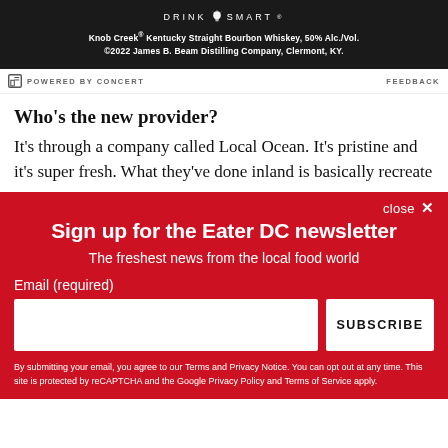[Figure (other): Knob Creek advertisement banner with dark background. Shows 'DRINK SMART' logo with lightbulb icon, and legal text about Knob Creek Kentucky Straight Bourbon Whiskey.]
POWERED BY CONCERT   FEEDBACK
Who's the new provider?
It's through a company called Local Ocean. It's pristine and it's super fresh. What they've done inland is basically recreate
close ×
Sign up for the Eater DC newsletter
The freshest news from the local food world
Email (required)
SUBSCRIBE
By submitting your email, you agree to our Terms and Privacy Notice. You can opt out at any time. This site is protected by reCAPTCHA and the Google Privacy Policy and Terms of Service apply.